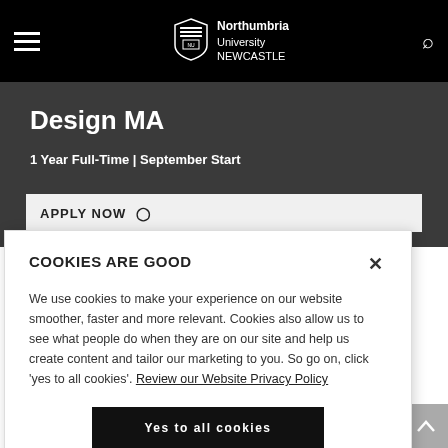Northumbria University NEWCASTLE
Design MA
1 Year Full-Time | September Start
COOKIES ARE GOOD
We use cookies to make your experience on our website smoother, faster and more relevant. Cookies also allow us to see what people do when they are on our site and help us create content and tailor our marketing to you. So go on, click 'yes to all cookies'. Review our Website Privacy Policy
Yes to all cookies